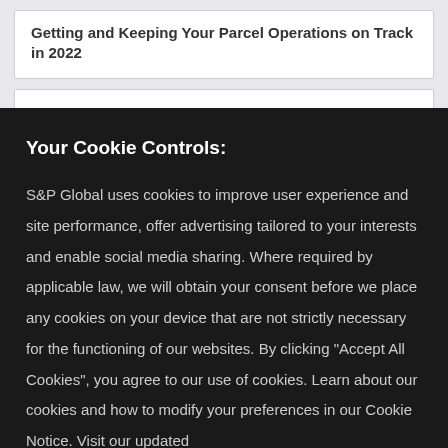Getting and Keeping Your Parcel Operations on Track in 2022
Your Cookie Controls:
S&P Global uses cookies to improve user experience and site performance, offer advertising tailored to your interests and enable social media sharing. Where required by applicable law, we will obtain your consent before we place any cookies on your device that are not strictly necessary for the functioning of our websites. By clicking "Accept All Cookies", you agree to our use of cookies. Learn about our cookies and how to modify your preferences in our Cookie Notice. Visit our updated